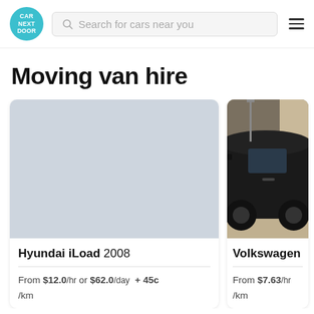[Figure (screenshot): Car Next Door logo — circular teal badge with white text CAR NEXT DOOR]
Search for cars near you
Moving van hire
[Figure (photo): Light blue-grey placeholder image for Hyundai iLoad 2008]
Hyundai iLoad 2008
From $12.0/hr or $62.0/day + 45c/km
[Figure (photo): Photo of a black Volkswagen van parked outside a building]
Volkswagen
From $7.63/hr /km